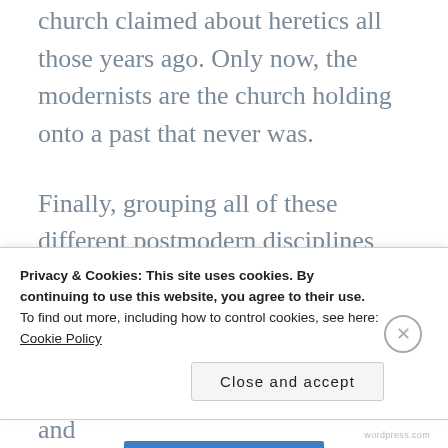church claimed about heretics all those years ago. Only now, the modernists are the church holding onto a past that never was.
Finally, grouping all of these different postmodern disciplines together is like lumping all atheists together—they may have little in common save for the disbelief in God and gods, but their rationale and
Privacy & Cookies: This site uses cookies. By continuing to use this website, you agree to their use.
To find out more, including how to control cookies, see here:
Cookie Policy
Close and accept